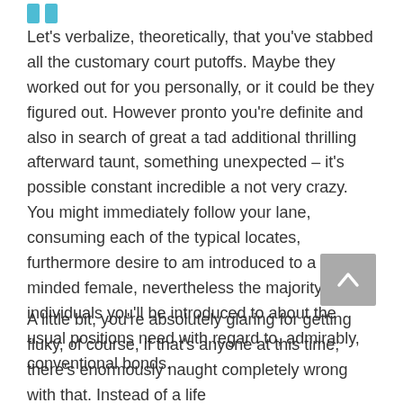Let's verbalize, theoretically, that you've stabbed all the customary court putoffs. Maybe they worked out for you personally, or it could be they figured out. However pronto you're definite and also in search of great a tad additional thrilling afterward taunt, something unexpected – it's possible constant incredible a not very crazy. You might immediately follow your lane, consuming each of the typical locates, furthermore desire to am introduced to a like-minded female, nevertheless the majority of individuals you'll be introduced to about the usual positions need with regard to, admirably, conventional bonds.
A little bit, you're absolutely glaring for getting fluky, of course, if that's anyone at this time, there's enormously naught completely wrong with that. Instead of a life